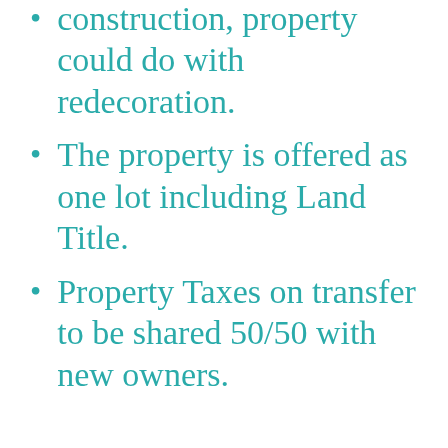construction, property could do with redecoration.
The property is offered as one lot including Land Title.
Property Taxes on transfer to be shared 50/50 with new owners.